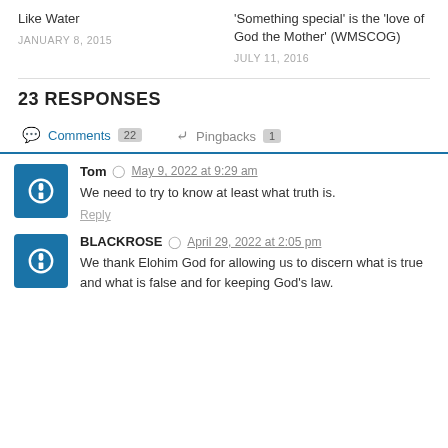Like Water
JANUARY 8, 2015
'Something special' is the 'love of God the Mother' (WMSCOG)
JULY 11, 2016
23 RESPONSES
Comments 22   Pingbacks 1
Tom   May 9, 2022 at 9:29 am
We need to try to know at least what truth is.
Reply
BLACKROSE   April 29, 2022 at 2:05 pm
We thank Elohim God for allowing us to discern what is true and what is false and for keeping God's law.